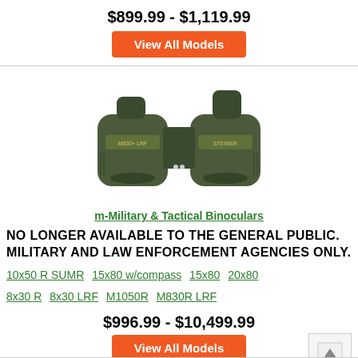$899.99 - $1,119.99
View All Models
[Figure (photo): Steiner military/tactical binoculars, olive green, porro prism style]
m-Military & Tactical Binoculars
NO LONGER AVAILABLE TO THE GENERAL PUBLIC. MILITARY AND LAW ENFORCEMENT AGENCIES ONLY.
10x50 R SUMR  15x80 w/compass  15x80  20x80
8x30 R  8x30 LRF  M1050R  M830R LRF
$996.99 - $10,499.99
View All Models